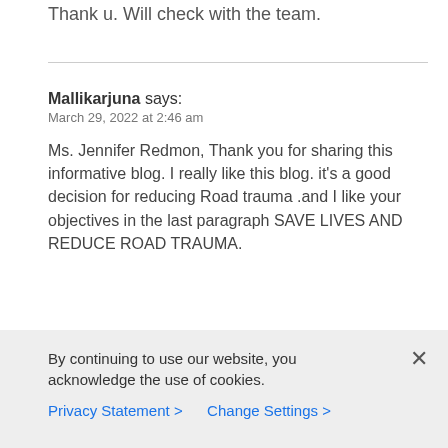Thank u. Will check with the team.
Mallikarjuna says:
March 29, 2022 at 2:46 am

Ms. Jennifer Redmon, Thank you for sharing this informative blog. I really like this blog. it's a good decision for reducing Road trauma .and I like your objectives in the last paragraph SAVE LIVES AND REDUCE ROAD TRAUMA.
By continuing to use our website, you acknowledge the use of cookies.
Privacy Statement > Change Settings >